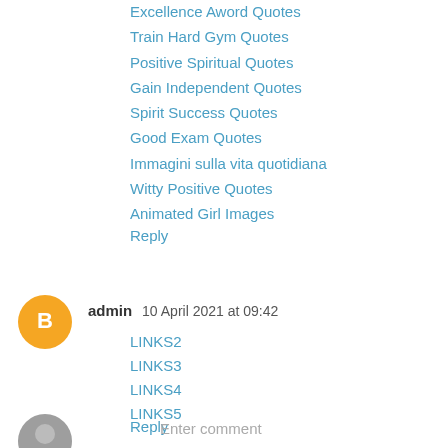Excellence Aword Quotes
Train Hard Gym Quotes
Positive Spiritual Quotes
Gain Independent Quotes
Spirit Success Quotes
Good Exam Quotes
Immagini sulla vita quotidiana
Witty Positive Quotes
Animated Girl Images
Reply
admin  10 April 2021 at 09:42
LINKS2
LINKS3
LINKS4
LINKS5
Reply
Enter comment